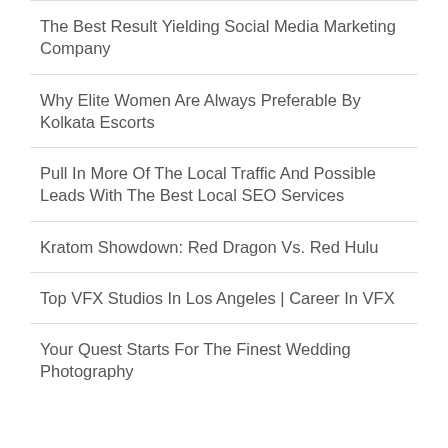The Best Result Yielding Social Media Marketing Company
Why Elite Women Are Always Preferable By Kolkata Escorts
Pull In More Of The Local Traffic And Possible Leads With The Best Local SEO Services
Kratom Showdown: Red Dragon Vs. Red Hulu
Top VFX Studios In Los Angeles | Career In VFX
Your Quest Starts For The Finest Wedding Photography